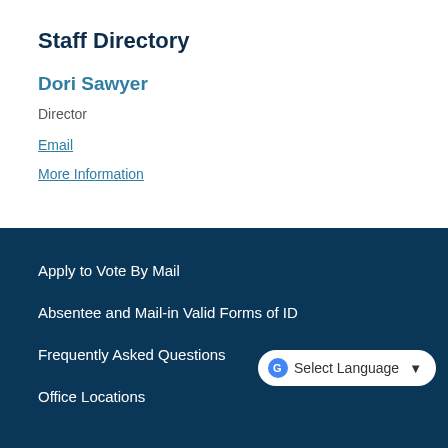Staff Directory
Dori Sawyer
Director
Email
More Information
Apply to Vote By Mail
Absentee and Mail-in Valid Forms of ID
Frequently Asked Questions
Office Locations